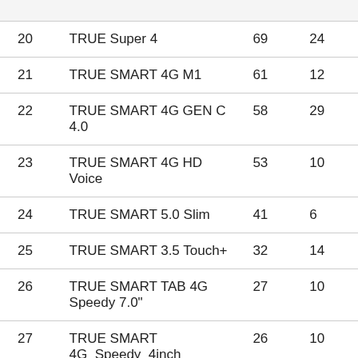|  |  |  |  |
| --- | --- | --- | --- |
| 20 | TRUE Super 4 | 69 | 24 |
| 21 | TRUE SMART 4G M1 | 61 | 12 |
| 22 | TRUE SMART 4G GEN C 4.0 | 58 | 29 |
| 23 | TRUE SMART 4G HD Voice | 53 | 10 |
| 24 | TRUE SMART 5.0 Slim | 41 | 6 |
| 25 | TRUE SMART 3.5 Touch+ | 32 | 14 |
| 26 | TRUE SMART TAB 4G Speedy 7.0" | 27 | 10 |
| 27 | TRUE SMART 4G_Speedy_4inch | 26 | 10 |
| 28 | TRUE SMART 3.5 Touch | 23 | 12 |